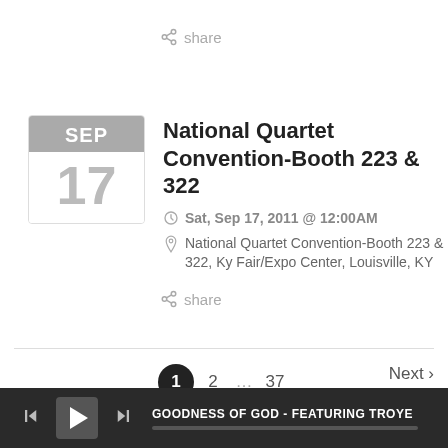share
National Quartet Convention-Booth 223 & 322
Sat, Sep 17, 2011 @ 12:00AM
National Quartet Convention-Booth 223 & 322, Ky Fair/Expo Center, Louisville, KY
share
1  2  …  37  Next ›
GOODNESS OF GOD - FEATURING TROYE